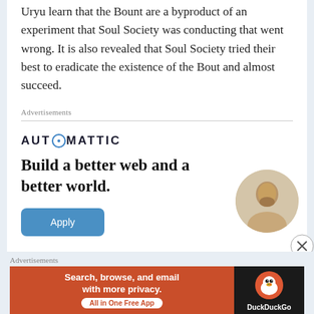Uryu learn that the Bount are a byproduct of an experiment that Soul Society was conducting that went wrong. It is also revealed that Soul Society tried their best to eradicate the existence of the Bout and almost succeed.
Advertisements
[Figure (illustration): Automattic advertisement banner with logo, tagline 'Build a better web and a better world.', Apply button, and person photo]
Advertisements
[Figure (illustration): DuckDuckGo advertisement: 'Search, browse, and email with more privacy. All in One Free App' with DuckDuckGo logo on dark background]